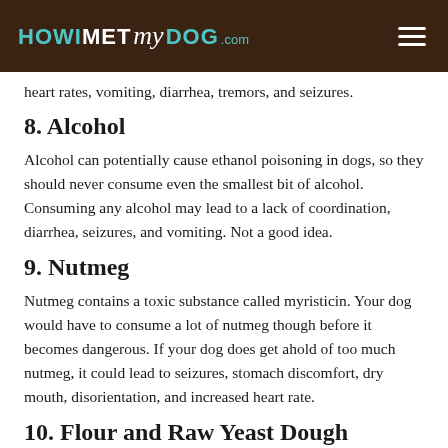HOW I MET my DOG .com
heart rates, vomiting, diarrhea, tremors, and seizures.
8. Alcohol
Alcohol can potentially cause ethanol poisoning in dogs, so they should never consume even the smallest bit of alcohol. Consuming any alcohol may lead to a lack of coordination, diarrhea, seizures, and vomiting. Not a good idea.
9. Nutmeg
Nutmeg contains a toxic substance called myristicin. Your dog would have to consume a lot of nutmeg though before it becomes dangerous. If your dog does get ahold of too much nutmeg, it could lead to seizures, stomach discomfort, dry mouth, disorientation, and increased heart rate.
10. Flour and Raw Yeast Dough